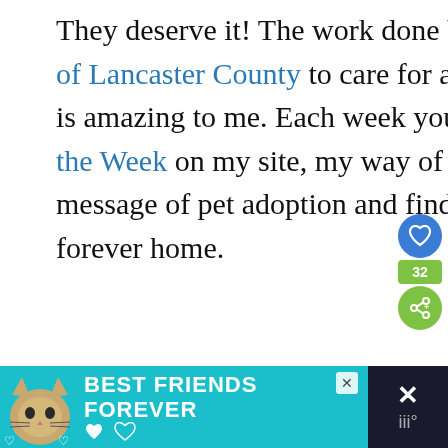They deserve it! The work done by my local Humane League of Lancaster County to care for and place their shelter animals is amazing to me. Each week you'll find me sharing their Pet of the Week on my site, my way of trying to help spread the message of pet adoption and find these little sweeties their forever home.
[Figure (screenshot): Social media UI buttons: a blue heart/like button, a green count badge showing 32, and a green share button]
[Figure (screenshot): Ad banner at the bottom with teal background showing a cat illustration and text 'BEST FRIENDS FOREVER' with heart decorations, and a dark panel on the right with an X close button]